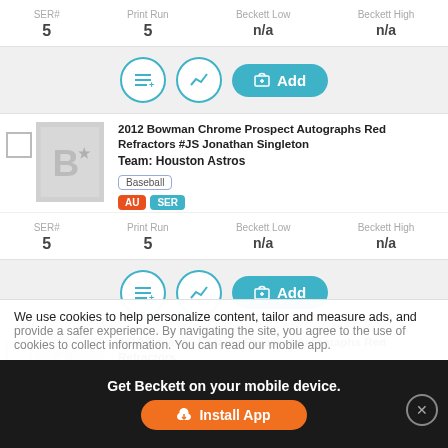| SER# | Print Run | Beckett Low | Beckett High |
| --- | --- | --- | --- |
| 5 | 5 | n/a | n/a |
2012 Bowman Chrome Prospect Autographs Red Refractors #JS Jonathan Singleton
Team: Houston Astros
Baseball
AU SER
SER# 5  Print Run 5  Beckett Low n/a  Beckett High n/a
| SER# | Print Run | Beckett Low | Beckett High |
| --- | --- | --- | --- |
| 5 | 5 | n/a | n/a |
2012 Bowman Chrome Prospect Autographs Red Refractors #JSO Jorge Soler
We use cookies to help personalize content, tailor and measure ads, and provide a safer experience. By navigating the site, you agree to the use of cookies to collect information. You can read our mobile app.
Get Beckett on your mobile device.
Install App